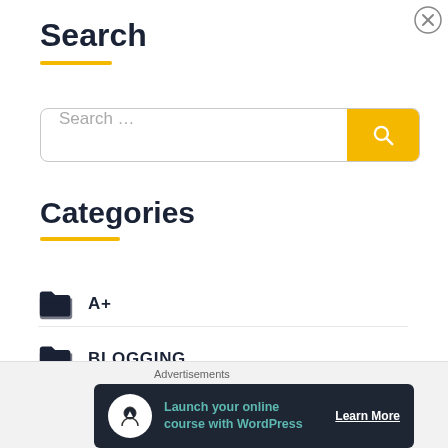Search
[Figure (other): Search input box with yellow search button]
Categories
A+
BLOGGING
CERTIFICATION TESTING
[Figure (infographic): Advertisement banner: 'Launch your online course with WordPress - Learn More' on dark background]